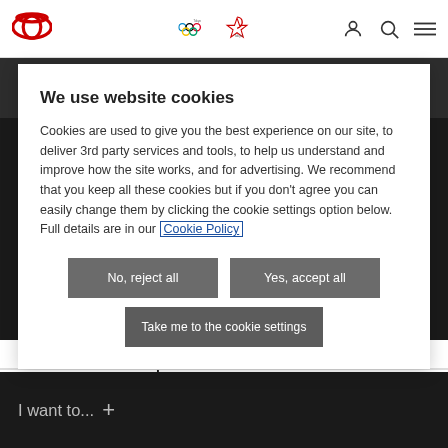[Figure (logo): Toyota logo (ellipses) in top left nav bar]
[Figure (logo): Olympic rings logo in nav center]
[Figure (logo): Paralympic logo in nav center]
We use website cookies
Cookies are used to give you the best experience on our site, to deliver 3rd party services and tools, to help us understand and improve how the site works, and for advertising. We recommend that you keep all these cookies but if you don't agree you can easily change them by clicking the cookie settings option below. Full details are in our Cookie Policy
No, reject all
Yes, accept all
Take me to the cookie settings
Exterior   Boot Space
I want to...   +